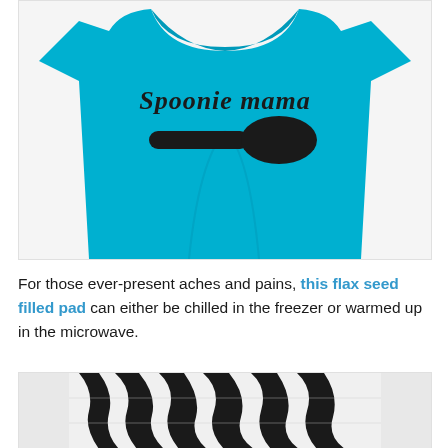[Figure (photo): A teal/aqua t-shirt with the text 'Spoonie mama' written in cursive script and a large black spoon silhouette printed on it, displayed on a white background.]
For those ever-present aches and pains, this flax seed filled pad can either be chilled in the freezer or warmed up in the microwave.
[Figure (photo): A zebra-print patterned heating/cooling pad, black and white stripes, partially visible at the bottom of the page.]